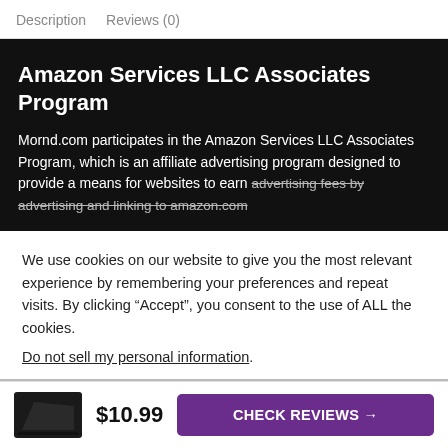Description   Reviews (0)
Amazon Services LLC Associates Program
Mornd.com participates in the Amazon Services LLC Associates Program, which is an affiliate advertising program designed to provide a means for websites to earn advertising fees by advertising and linking to amazon.com
We use cookies on our website to give you the most relevant experience by remembering your preferences and repeat visits. By clicking “Accept”, you consent to the use of ALL the cookies.
Do not sell my personal information.
$10.99
CHECK REVIEWS →